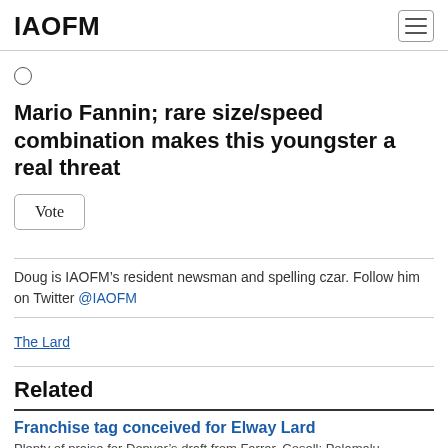IAOFM
Mario Fannin; rare size/speed combination makes this youngster a real threat
Vote
Doug is IAOFM’s resident newsman and spelling czar. Follow him on Twitter @IAOFM
The Lard
Related
Franchise tag conceived for Elway Lard
Plenty of praise for Denver’s draft from Farrar, Cosell; Polamalu